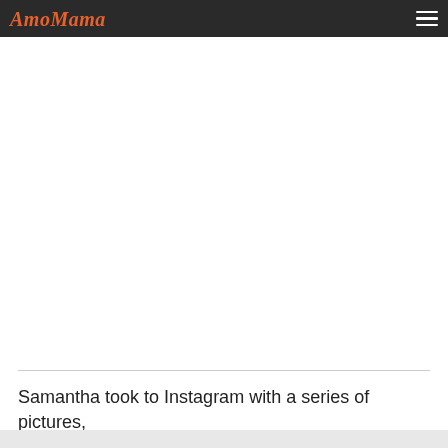AmoMama
[Figure (other): Large white advertisement/content placeholder area below the navigation bar]
Samantha took to Instagram with a series of pictures,